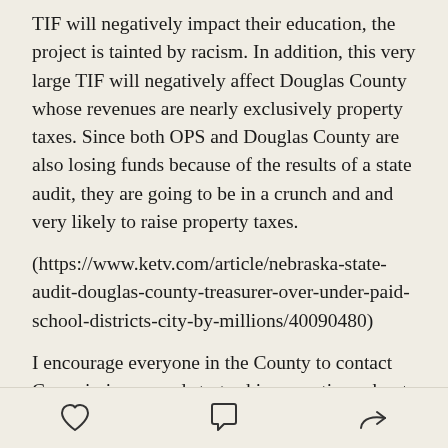TIF will negatively impact their education, the project is tainted by racism. In addition, this very large TIF will negatively affect Douglas County whose revenues are nearly exclusively property taxes. Since both OPS and Douglas County are also losing funds because of the results of a state audit, they are going to be in a crunch and and very likely to raise property taxes. (https://www.ketv.com/article/nebraska-state-audit-douglas-county-treasurer-over-under-paid-school-districts-city-by-millions/40090480)
I encourage everyone in the County to contact Commissioners and start asking questions about this project and the audit:
http://commissioners.douglascounty.ne.gov/
[heart icon] [comment icon] [share icon]